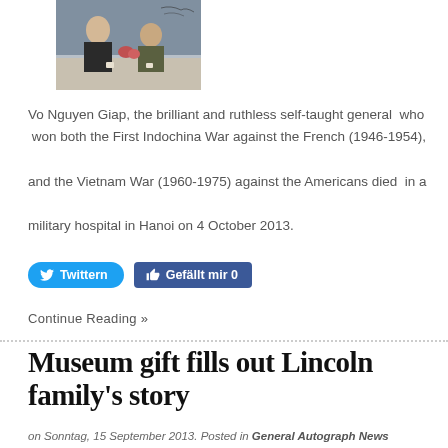[Figure (photo): Photo of two people sitting together, possibly at an event or interview setting]
Vo Nguyen Giap, the brilliant and ruthless self-taught general  who  won both the First Indochina War against the French (1946-1954),  and the Vietnam War (1960-1975) against the Americans died  in a  military hospital in Hanoi on 4 October 2013.
[Figure (screenshot): Twitter 'Twittern' button and Facebook 'Gefällt mir 0' button]
Continue Reading »
Museum gift fills out Lincoln family's story
on Sonntag, 15 September 2013. Posted in General Autograph News